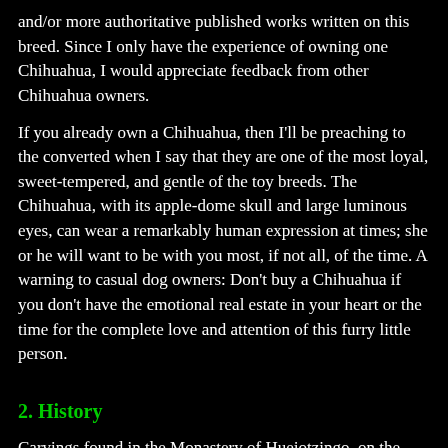and/or more authoritative published works written on this breed. Since I only have the experience of owning one Chihuahua, I would appreciate feedback from other Chihuahua owners.
If you already own a Chihuahua, then I'll be preaching to the converted when I say that they are one of the most loyal, sweet-tempered, and gentle of the toy breeds. The Chihuahua, with its apple-dome skull and large luminous eyes, can wear a remarkably human expression at times; she or he will want to be with you most, if not all, of the time. A warning to casual dog owners: Don't buy a Chihuahua if you don't have the emotional real estate in your heart or the time for the complete love and attention of this furry little person.
2. History
Carvings found in the Monastery of Huejotzingo, on the highway from Mexico City to Puebla, give strong evidence as to the Chihuahua's origins. This monastery was constructed by Franciscan Monks around 1530. The Monks used stones from the Toltec civilization. Little is known of the Toltecs, but we do know